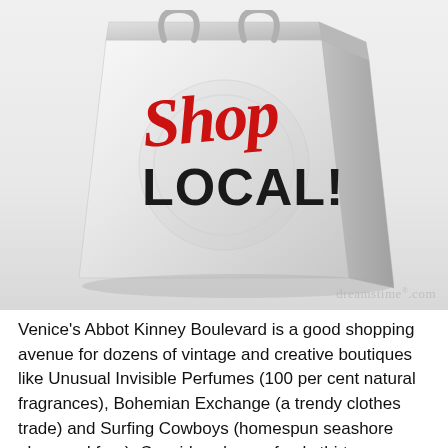[Figure (illustration): A 3D illustrated shopping bag with 'Shop LOCAL!' text on it. 'Shop' is written in red cursive/script font, 'LOCAL!' is in bold black uppercase letters. The bag is white/light gray with a glossy appearance. A circular watermark or logo is visible in the background on the bag.]
Venice's Abbot Kinney Boulevard is a good shopping avenue for dozens of vintage and creative boutiques like Unusual Invisible Perfumes (100 per cent natural fragrances), Bohemian Exchange (a trendy clothes trade) and Surfing Cowboys (homespun seashore obsessed fare). Considered one of only thirteen storefronts nationwide, this handsomely appointed